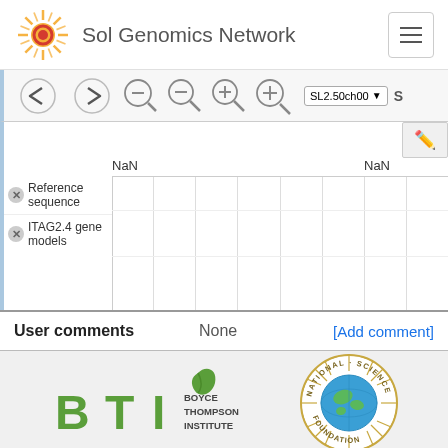Sol Genomics Network
[Figure (screenshot): Genome browser toolbar with navigation arrows, zoom buttons, and SL2.50ch00 dropdown selector]
[Figure (screenshot): Genome browser track viewer showing 'Reference sequence' and 'ITAG2.4 gene models' tracks with NaN position markers and vertical grid lines]
User comments    None    [Add comment]
[Figure (logo): BTI Boyce Thompson Institute logo (green leaf with BTI text)]
[Figure (logo): National Science Foundation circular logo]